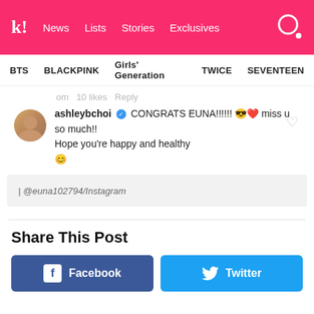k! News Lists Stories Exclusives
BTS BLACKPINK Girls' Generation TWICE SEVENTEEN
om 10 likes Reply
ashleybchoi ✓ CONGRATS EUNA!!!!!! 😎❤ miss u so much!! Hope you're happy and healthy 😊
| @euna102794/Instagram
Share This Post
Facebook
Twitter